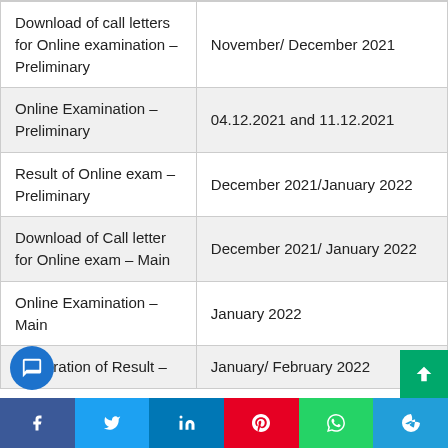| Activity | Date |
| --- | --- |
| Download of call letters for Online examination – Preliminary | November/ December 2021 |
| Online Examination – Preliminary | 04.12.2021 and 11.12.2021 |
| Result of Online exam – Preliminary | December 2021/January 2022 |
| Download of Call letter for Online exam – Main | December 2021/ January 2022 |
| Online Examination – Main | January 2022 |
| Declaration of Result – | January/ February 2022 |